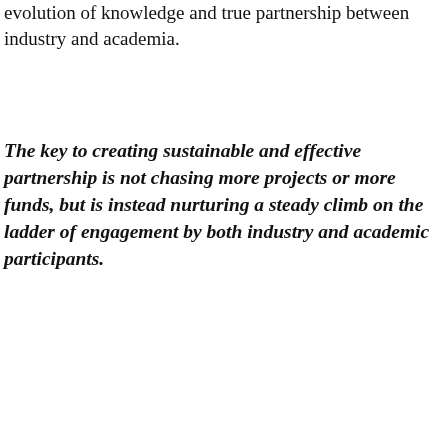evolution of knowledge and true partnership between industry and academia.
The key to creating sustainable and effective partnership is not chasing more projects or more funds, but is instead nurturing a steady climb on the ladder of engagement by both industry and academic participants.